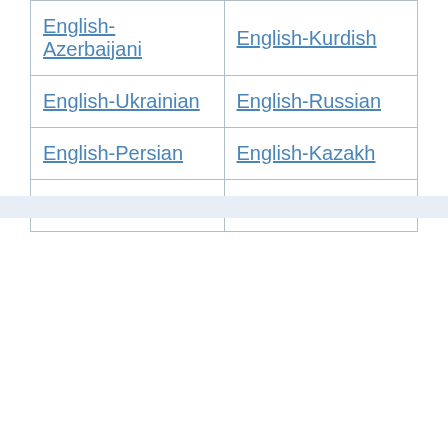| English-Azerbaijani | English-Kurdish |
| English-Ukrainian | English-Russian |
| English-Persian | English-Kazakh |
| English-Malgasy |  |